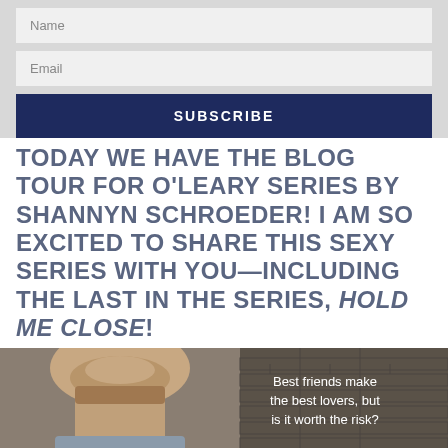Name
Email
SUBSCRIBE
TODAY WE HAVE THE BLOG TOUR FOR O'LEARY SERIES BY SHANNYN SCHROEDER! I AM SO EXCITED TO SHARE THIS SEXY SERIES WITH YOU—INCLUDING THE LAST IN THE SERIES, HOLD ME CLOSE!
[Figure (photo): Photo of a man's neck and lower face with stubble, wearing a grey shirt, against a brick wall background. Text overlay reads: 'Best friends make the best lovers, but is it worth the risk?']